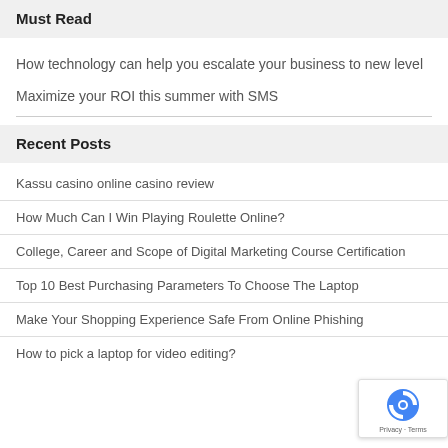Must Read
How technology can help you escalate your business to new level
Maximize your ROI this summer with SMS
Recent Posts
Kassu casino online casino review
How Much Can I Win Playing Roulette Online?
College, Career and Scope of Digital Marketing Course Certification
Top 10 Best Purchasing Parameters To Choose The Laptop
Make Your Shopping Experience Safe From Online Phishing
How to pick a laptop for video editing?